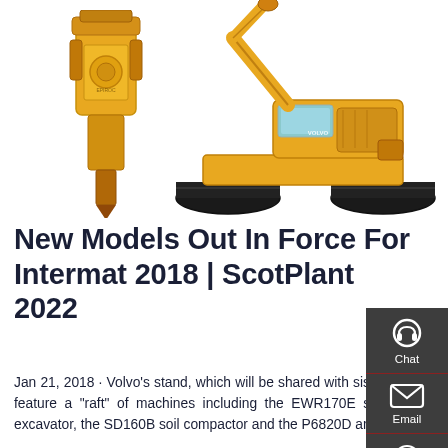[Figure (photo): Two pieces of yellow construction/excavation machinery: a hydraulic breaker attachment on the left and a large tracked crawler excavator on the right, photographed on white background.]
New Models Out In Force For Intermat 2018 | ScotPlant 2022
Jan 21, 2018 · Volvo's stand, which will be shared with sister companies Volvo Trucks, Volvo Penta, and Volvo Financial Services, will feature a "raft" of machines including the EWR170E short-swing wheeled excavator, the ECR355E short-swing radius crawler excavator, the SD160B soil compactor and the P6820D and P4820D ABG pavers fitted with the